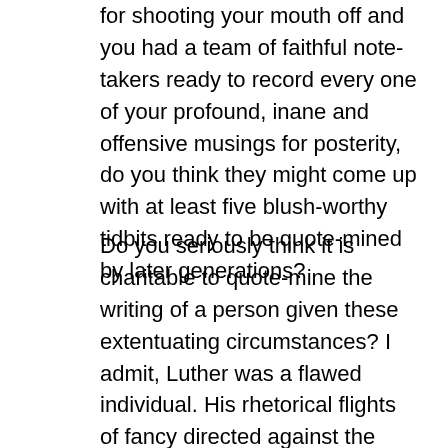for shooting your mouth off and you had a team of faithful note-takers ready to record every one of your profound, inane and offensive musings for posterity, do you think they might come up with at least five blush-worthy tidbits ready to be quote-mined by later generations?
Do you seriously think it is charitable to quote-mine the writing of a person given these extentuating circumstances? I admit, Luther was a flawed individual. His rhetorical flights of fancy directed against the perils of late medieval scholasticism sometimes missed their mark. But please, Brother Jag, quote others the way you would have them quote you.